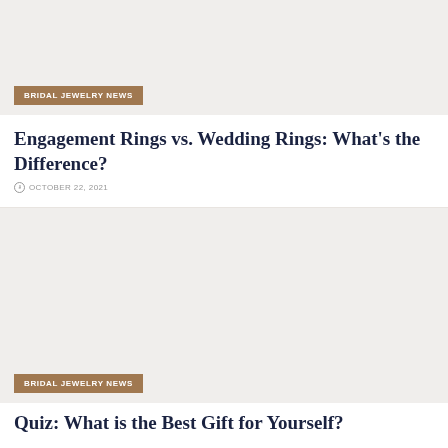[Figure (photo): Image placeholder with light beige/grey background for article about engagement rings vs wedding rings]
BRIDAL JEWELRY NEWS
Engagement Rings vs. Wedding Rings: What's the Difference?
OCTOBER 22, 2021
[Figure (photo): Image placeholder with light beige/grey background for second article]
BRIDAL JEWELRY NEWS
Quiz: What is the Best Gift for Yourself?